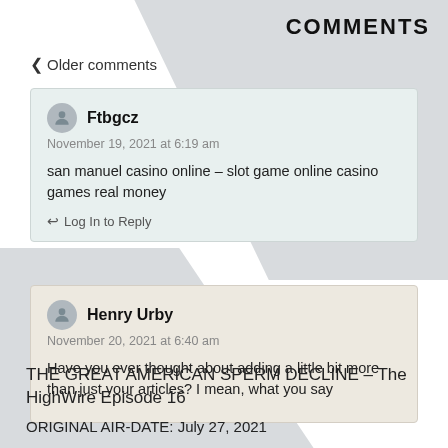COMMENTS
< Older comments
Ftbgcz
November 19, 2021 at 6:19 am
san manuel casino online – slot game online casino games real money
Log In to Reply
Henry Urby
November 20, 2021 at 6:40 am
Have you ever thought about adding a little bit more than just your articles? I mean, what you say
THE GREAT AMERICAN SPERM DECLINE – The HighWire Episode 16
ORIGINAL AIR-DATE: July 27, 2021